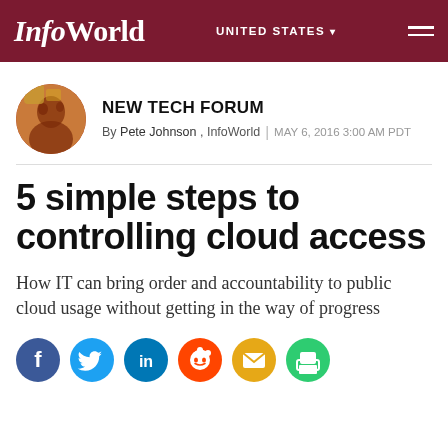InfoWorld | UNITED STATES
NEW TECH FORUM
By Pete Johnson , InfoWorld | MAY 6, 2016 3:00 AM PDT
5 simple steps to controlling cloud access
How IT can bring order and accountability to public cloud usage without getting in the way of progress
[Figure (infographic): Social sharing icons: Facebook, Twitter, LinkedIn, Reddit, Email, Print]